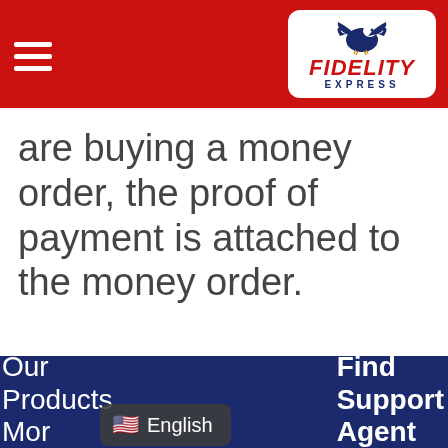[Figure (logo): Fidelity Express logo with eagle icon, red FIDELITY text and blue EXPRESS text on white rounded rectangle background, within red header bar with hamburger menu]
are buying a money order, the proof of payment is attached to the money order.
Our Products Mor
Find Support Agent
🇺🇸 English